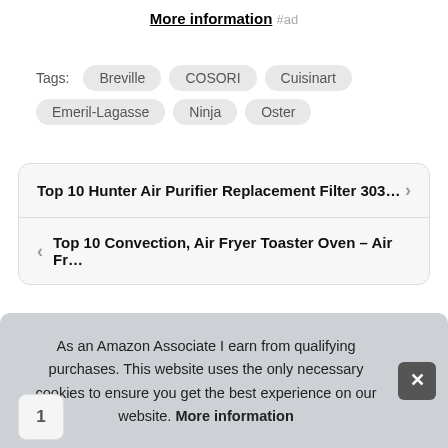More information #ad
Tags: Breville COSORI Cuisinart Emeril-Lagasse Ninja Oster
Top 10 Hunter Air Purifier Replacement Filter 303…
Top 10 Convection, Air Fryer Toaster Oven – Air Fr…
As an Amazon Associate I earn from qualifying purchases. This website uses the only necessary cookies to ensure you get the best experience on our website. More information